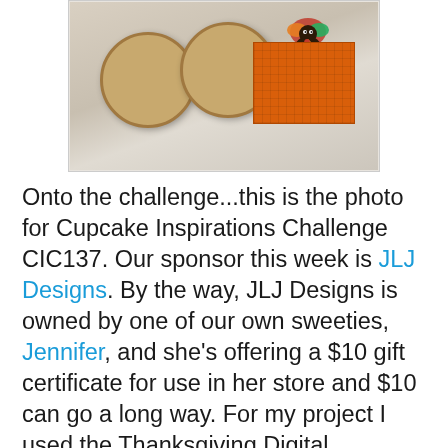[Figure (photo): Photo showing waffle-textured round cookies/biscuits and an orange Thanksgiving card with a turkey on it, set against a neutral background.]
Onto the challenge...this is the photo for Cupcake Inspirations Challenge CIC137.  Our sponsor this week is JLJ Designs.  By the way, JLJ Designs is owned by one of our own sweeties,  Jennifer, and she's offering a $10 gift certificate for use in her store and $10 can go a long way.  For my project I used the Thanksgiving Digital Scrapbooking kit.  What a great value!   There are 15 digital papers and 30 elements and as you can see they're not just for scrapbooking.  I used just two of the the papers and one of the elements to give you an idea of how you can use them before you have the photos to scrap.  I've started with place cards, which no one in my family will ever pay attention to but maybe your folks are better behaved.   If you make the place tag large enough later on it can be used for the "totin" bag.  Whenever I host Thanksgiving dinner everyone gets sent home with a bag of leftovers so they too can enjoy a turkey sandwich.  Then there's the little bag of doggie cookie